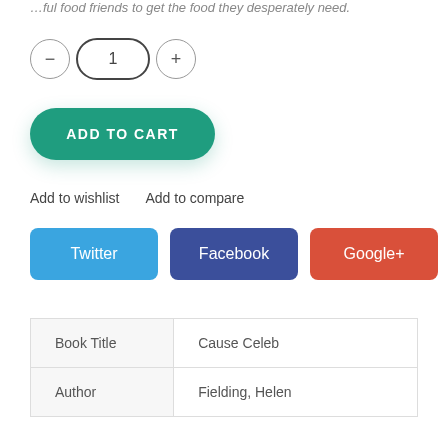...ful food friends to get the food they desperately need.
[Figure (other): Quantity selector with minus button, quantity value '1' in pill-shaped input, and plus button]
[Figure (other): Green 'ADD TO CART' button with rounded corners]
Add to wishlist    Add to compare
[Figure (other): Three social share buttons: Twitter (blue), Facebook (dark blue), Google+ (red-orange)]
| Book Title | Cause Celeb |
| Author | Fielding, Helen |